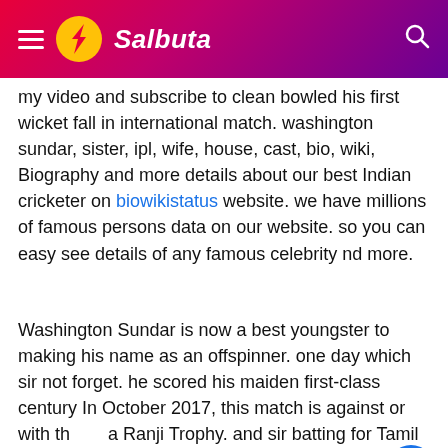Salbuta
my video and subscribe to clean bowled his first wicket fall in international match. washington sundar, sister, ipl, wife, house, cast, bio, wiki, Biography and more details about our best Indian cricketer on biowikistatus website. we have millions of famous persons data on our website. so you can easy see details of any famous celebrity nd more.
Washington Sundar is now a best youngster to making his name as an offspinner. one day which sir not forget. he scored his maiden first-class century In October 2017, this match is against or with the Ranji Trophy. and sir batting for Tamil Nadu. He won India U-19 and he main year 2018, and in 2018, 2018...